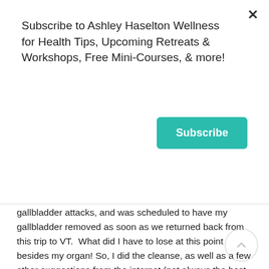Subscribe to Ashley Haselton Wellness for Health Tips, Upcoming Retreats & Workshops, Free Mini-Courses, & more!
Subscribe
gallbladder attacks, and was scheduled to have my gallbladder removed as soon as we returned back from this trip to VT.  What did I have to lose at this point besides my organ! So, I did the cleanse, as well as a few other suggestions from the internet (not always the best idea) but, it worked.  This experience opened up a world to me that was unknown–completely uncharted territory. The first book that was first placed in my hands was The Maker's Diet by Jordan Rubin... This set me on the fast track. I could not shovel the information in fast enough. I now have a whole collection I have read.  Applying the principles and tools to my life was a